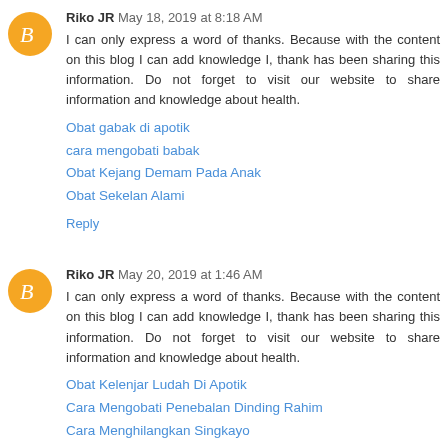Riko JR May 18, 2019 at 8:18 AM
I can only express a word of thanks. Because with the content on this blog I can add knowledge I, thank has been sharing this information. Do not forget to visit our website to share information and knowledge about health.
Obat gabak di apotik
cara mengobati babak
Obat Kejang Demam Pada Anak
Obat Sekelan Alami
Reply
Riko JR May 20, 2019 at 1:46 AM
I can only express a word of thanks. Because with the content on this blog I can add knowledge I, thank has been sharing this information. Do not forget to visit our website to share information and knowledge about health.
Obat Kelenjar Ludah Di Apotik
Cara Mengobati Penebalan Dinding Rahim
Cara Menghilangkan Singkayo
Cara Mengobati Maag Kronis